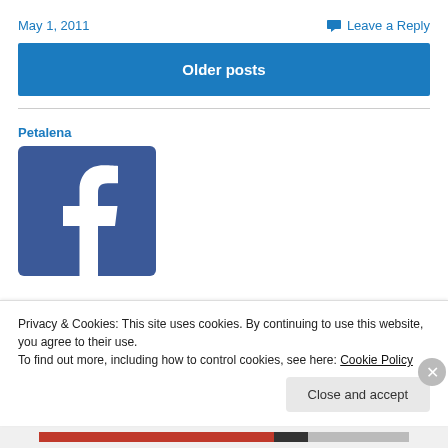May 1, 2011   Leave a Reply
Older posts
Petalena
[Figure (logo): Facebook logo — blue square with white lowercase letter f]
Privacy & Cookies: This site uses cookies. By continuing to use this website, you agree to their use.
To find out more, including how to control cookies, see here: Cookie Policy
Close and accept